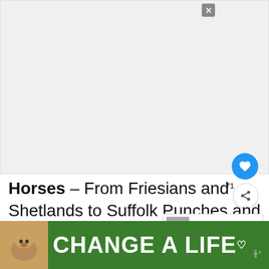[Figure (photo): Blank/white image area representing a horse photo placeholder]
Horses – From Friesians and Shetlands to Suffolk Punches and Cleveland Bays, discover which is the fastest in this Top Trumps Horses and Ponies pack! Compare stats of height, beauty and speed and find out that
[Figure (infographic): WHAT'S NEXT banner with thumbnail showing #Win a Samsung...]
[Figure (infographic): CHANGE A LIFE advertisement bar with dog image at bottom of page]